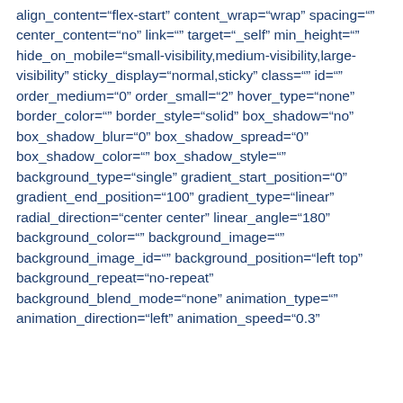align_content="flex-start" content_wrap="wrap" spacing="" center_content="no" link="" target="_self" min_height="" hide_on_mobile="small-visibility,medium-visibility,large-visibility" sticky_display="normal,sticky" class="" id="" order_medium="0" order_small="2" hover_type="none" border_color="" border_style="solid" box_shadow="no" box_shadow_blur="0" box_shadow_spread="0" box_shadow_color="" box_shadow_style="" background_type="single" gradient_start_position="0" gradient_end_position="100" gradient_type="linear" radial_direction="center center" linear_angle="180" background_color="" background_image="" background_image_id="" background_position="left top" background_repeat="no-repeat" background_blend_mode="none" animation_type="" animation_direction="left" animation_speed="0.3"